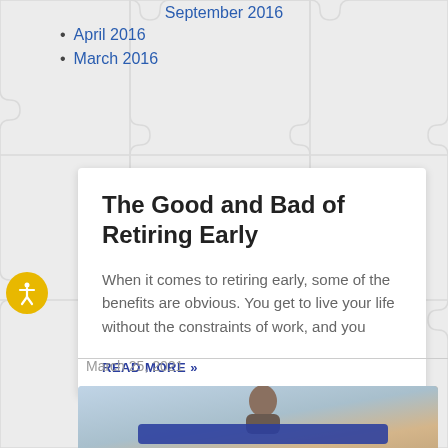April 2016
March 2016
The Good and Bad of Retiring Early
When it comes to retiring early, some of the benefits are obvious. You get to live your life without the constraints of work, and you
READ MORE »
March 25, 2021
[Figure (photo): Bottom portion of a financial article page showing partial photo of elderly person, with blue button overlay]